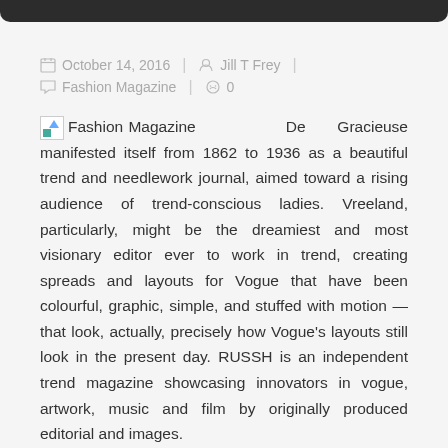October 14, 2016  |  Jill T Frey  |
Fashion Magazine  |  0
Fashion Magazine De Gracieuse manifested itself from 1862 to 1936 as a beautiful trend and needlework journal, aimed toward a rising audience of trend-conscious ladies. Vreeland, particularly, might be the dreamiest and most visionary editor ever to work in trend, creating spreads and layouts for Vogue that have been colourful, graphic, simple, and stuffed with motion — that look, actually, precisely how Vogue's layouts still look in the present day. RUSSH is an independent trend magazine showcasing innovators in vogue, artwork, music and film by originally produced editorial and images.
With our on-line device, you can make online vogue